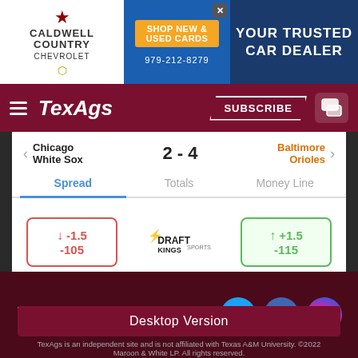[Figure (screenshot): Caldwell Country Chevrolet advertisement banner with shop new & used cars text and phone number 979-212-8279, YOUR TRUSTED CAR DEALER]
TexAgs — SUBSCRIBE
Chicago White Sox  2 - 4  Baltimore Orioles
Spread  Totals  Money Line
[Figure (screenshot): DraftKings Sportsbook betting odds widget showing spread options for Chicago White Sox vs Baltimore Orioles, with red box showing -1.5 / -105 and green box showing +1.5 / -115]
Must be 21+. If you have a gambling problem, please call 1-800-GAMBLER for help.
TexAgs — social icons: Twitter, Facebook, Instagram
Desktop Version
TexAgs is an independent site and is not affiliated with Texas A&M University. ©2022 Maroon & White LP. All rights reserved.